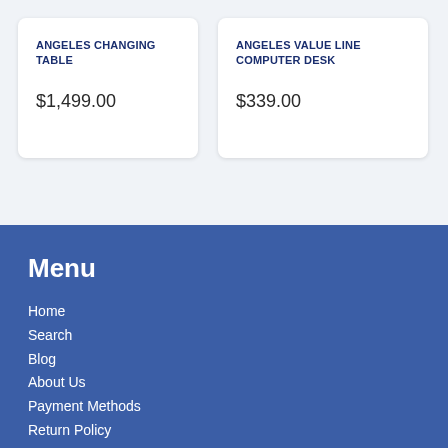ANGELES CHANGING TABLE
$1,499.00
ANGELES VALUE LINE COMPUTER DESK
$339.00
Menu
Home
Search
Blog
About Us
Payment Methods
Return Policy
Terms & Conditions